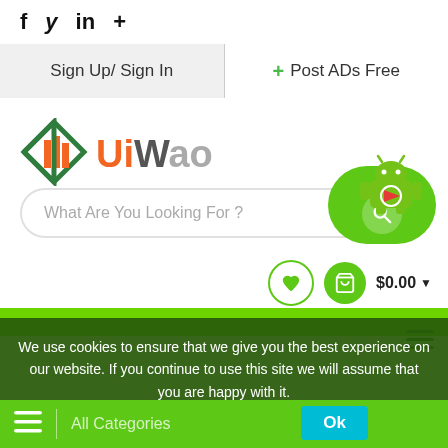f  y  in  +
Sign Up/ Sign In
+ Post ADs Free
[Figure (logo): UiWao logo with green geometric building icon and orange/gray text 'UiWao']
What Are You Looking For ?
[Figure (illustration): Green pill-shaped search button with magnifier icon and Android robot mascot on top]
$0.00
We use cookies to ensure that we give you the best experience on our website. If you continue to use this site we will assume that you are happy with it.
All Categories
Ok